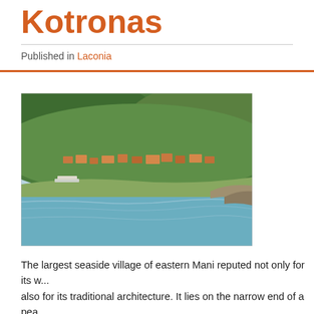Kotronas
Published in Laconia
[Figure (photo): Aerial/distant view of Kotronas village on the coast of eastern Mani, Greece, showing terracotta-roofed buildings nestled among green trees on a hillside above a calm blue bay with a small harbor.]
The largest seaside village of eastern Mani reputed not only for its w... also for its traditional architecture. It lies on the narrow end of a pea... from northern winds. It has number of small sandy and pebble harb... south of Sparta and 41km to the south of Gytheion